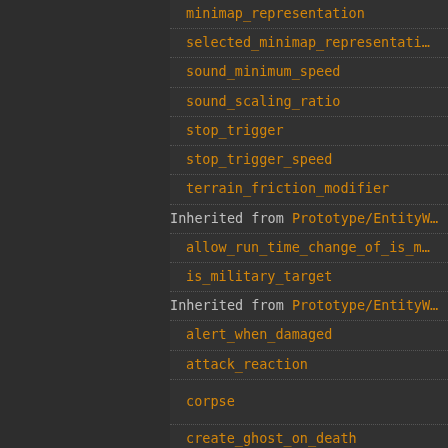minimap_representation
selected_minimap_representation
sound_minimum_speed
sound_scaling_ratio
stop_trigger
stop_trigger_speed
terrain_friction_modifier
Inherited from Prototype/EntityW...
allow_run_time_change_of_is_m...
is_military_target
Inherited from Prototype/EntityW...
alert_when_damaged
attack_reaction
corpse
create_ghost_on_death
damaged_trigger_effect
dying_explosion
dying_trigger_effect
healing_per_tick